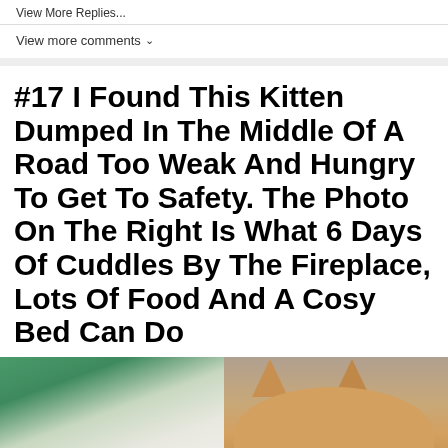View More Replies...
View more comments ∨
#17 I Found This Kitten Dumped In The Middle Of A Road Too Weak And Hungry To Get To Safety. The Photo On The Right Is What 6 Days Of Cuddles By The Fireplace, Lots Of Food And A Cosy Bed Can Do
[Figure (photo): Two photos side by side: left shows a kitten wrapped in white gauze/towel, right shows a tabby kitten peeking over a surface showing just its ears and forehead]
[Figure (other): Advertisement banner: Top Junior Gold Mining Stock - Get access to the next top mining Micro Cap here - www.rivres.com, with gold bar image on left and arrow button on right]